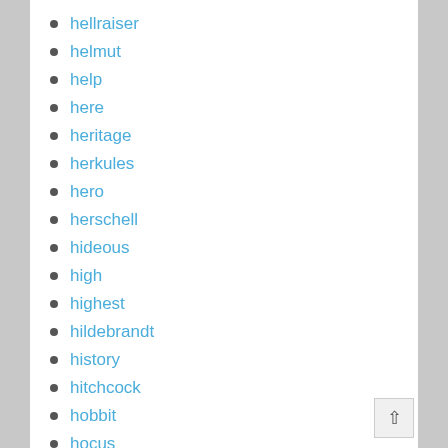hellraiser
helmut
help
here
heritage
herkules
hero
herschell
hideous
high
highest
hildebrandt
history
hitchcock
hobbit
hocus
hollywood